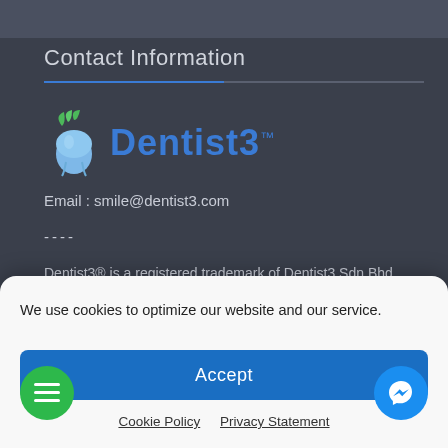Contact Information
[Figure (logo): Dentist3 logo with leaf and tooth icon, blue brand name with TM mark]
Email : smile@dentist3.com
----
Dentist3® is a registered trademark of Dentist3 Sdn Bhd. For
We use cookies to optimize our website and our service.
Accept
Cookie Policy   Privacy Statement